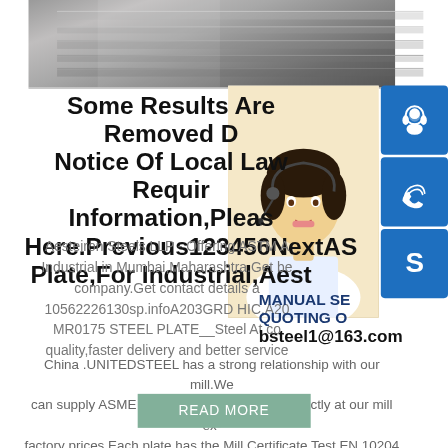[Figure (photo): Steel plates stacked, gray metallic surface, top banner photo]
Some Results Are Removed Due To A Notice Of Local Law Requirements.For More Information,Please See Here.Previous123456NextASTM A203GRD Plate,For Industrial,Aesteiron
[Figure (photo): Woman with headset smiling, customer service representative]
[Figure (illustration): Contact icon - customer support headset, blue panel]
[Figure (illustration): Contact icon - phone/call icon, blue panel]
[Figure (illustration): Contact icon - Skype S logo, blue panel]
MANUAL SE
QUOTING O
bsteel1@163.com
Aesteiron Steels LLP - Offering ASTM A203GRD Plate,For Industrial in Mumbai,Maharashtra.Get best price and read about company.Get contact details and address 10562226130sp.infoA203GRD HIC,A203GRD MR0175 STEEL PLATE__Steel At competitive prices,best quality,faster delivery and better services, Located in China .UNITEDSTEEL has a strong relationship with our mill.We can supply ASME A203GRD steel material directly at our mill ex-factory prices.Each plate has the Mill Certificate Test EN 10204 3.1/3.2 Version.A203GRD Delivery Time Or Lead Time 15
READ MORE